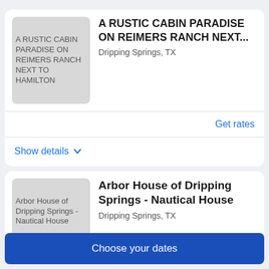[Figure (photo): Thumbnail image placeholder for A Rustic Cabin Paradise on Reimers Ranch listing]
A RUSTIC CABIN PARADISE ON REIMERS RANCH NEXT...
Dripping Springs, TX
Get rates
Show details
[Figure (photo): Thumbnail image placeholder for Arbor House of Dripping Springs - Nautical House listing]
Arbor House of Dripping Springs - Nautical House
Dripping Springs, TX
Choose your dates